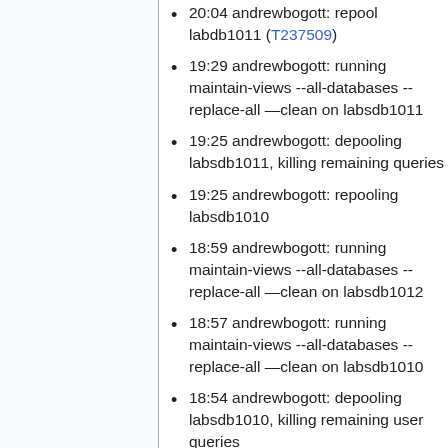20:04 andrewbogott: repool labdb1011 (T237509)
19:29 andrewbogott: running maintain-views --all-databases --replace-all —clean on labsdb1011
19:25 andrewbogott: depooling labsdb1011, killing remaining queries
19:25 andrewbogott: repooling labsdb1010
18:59 andrewbogott: running maintain-views --all-databases --replace-all —clean on labsdb1012
18:57 andrewbogott: running maintain-views --all-databases --replace-all —clean on labsdb1010
18:54 andrewbogott: depooling labsdb1010, killing remaining user queries
18:54 andrewbogott: depooled labsdb1009, ran maintain-views —